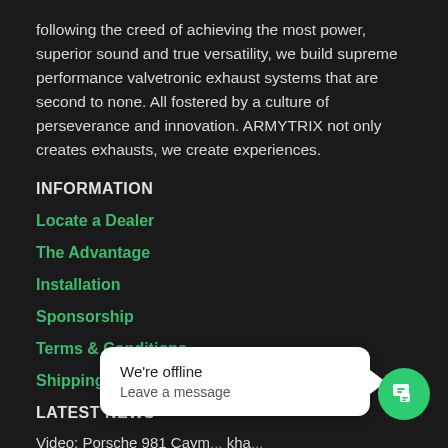following the creed of achieving the most power, superior sound and true versatility, we build supreme performance valvetronic exhaust systems that are second to none. All fostered by a culture of perseverance and innovation. ARMYTRIX not only creates exhausts, we create experiences.
INFORMATION
Locate a Dealer
The Advantage
Installation
Sponsorship
Terms & Conditions
Shipping & Returns
LATEST NEWS
Video: Porsche 981 Caym... kha... System
[Figure (screenshot): Chat widget showing 'We're offline' and 'Leave a message' with a green chat button icon]